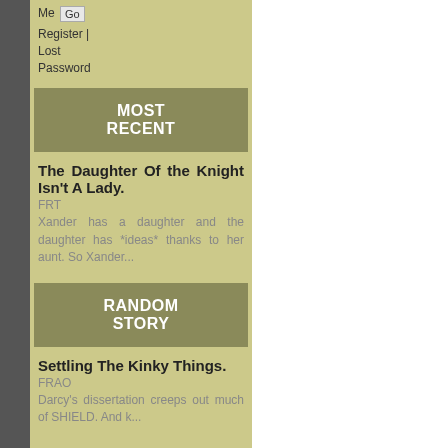Me Go
Register | Lost Password
MOST RECENT
The Daughter Of the Knight Isn't A Lady.
FRT
Xander has a daughter and the daughter has *ideas* thanks to her aunt. So Xander...
RANDOM STORY
Settling The Kinky Things.
FRAO
Darcy's dissertation creeps out much of SHIELD. And k...